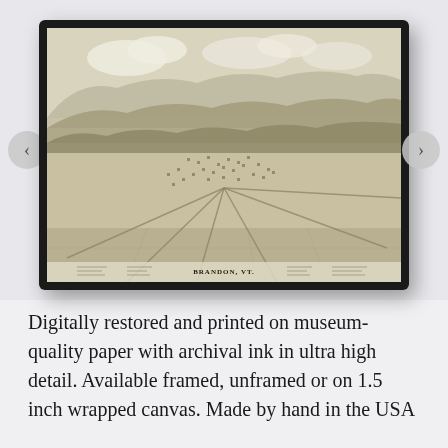[Figure (photo): A framed antique bird's-eye view map of Brandon, VT, displayed on a light gray wall. The map shows a sepia-toned aerial illustration of Brandon, Vermont with mountains in the background, town buildings and roads, and a legend at the bottom reading 'BRANDON, VT.' Navigation arrows (< and >) appear on either side of the image.]
Digitally restored and printed on museum-quality paper with archival ink in ultra high detail. Available framed, unframed or on 1.5 inch wrapped canvas. Made by hand in the USA